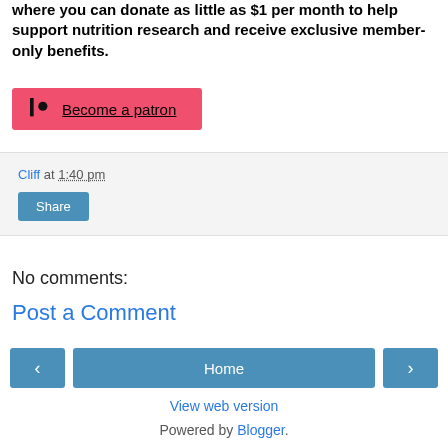where you can donate as little as $1 per month to help support nutrition research and receive exclusive member-only benefits.
[Figure (other): Patreon button with logo icon and 'Become a patron' link text on a red/coral background]
Cliff at 1:40 pm
Share button
No comments:
Post a Comment
< (previous) | Home | > (next) navigation buttons
View web version
Powered by Blogger.